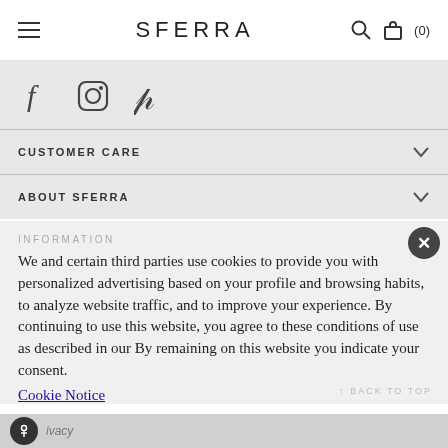SFERRA
[Figure (other): Social media icons: Facebook, Instagram, Pinterest]
CUSTOMER CARE
ABOUT SFERRA
INFORMATION
We and certain third parties use cookies to provide you with personalized advertising based on your profile and browsing habits, to analyze website traffic, and to improve your experience. By continuing to use this website, you agree to these conditions of use as described in our By remaining on this website you indicate your consent.
Cookie Notice
ivacy